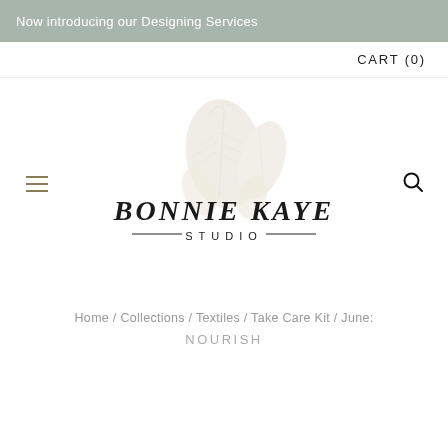Now introducing our Designing Services
CART (0)
[Figure (logo): Bonnie Kaye Studio logo with decorative botanical illustration above the text. Text reads 'BONNIE KAYE STUDIO' in elegant serif/display font with decorative lines flanking the word STUDIO.]
Home / Collections / Textiles / Take Care Kit / June: NOURISH